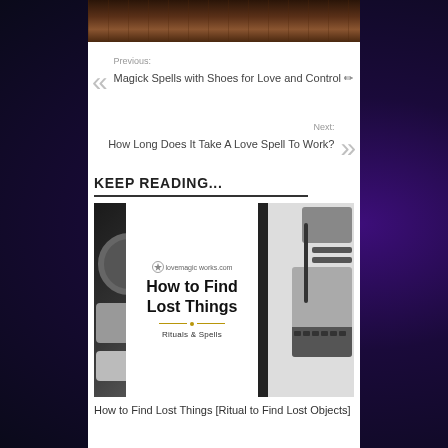[Figure (photo): Top portion of book image, dark brown leather-bound book on wooden surface]
Previous:
Magick Spells with Shoes for Love and Control 🖊
Next:
How Long Does It Take A Love Spell To Work?
KEEP READING...
[Figure (photo): Article thumbnail for 'How to Find Lost Things - Rituals & Spells' showing text overlay on dark background with tech items on the right]
How to Find Lost Things [Ritual to Find Lost Objects]